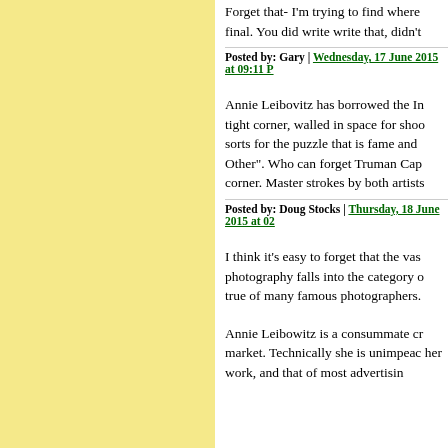Forget that- I'm trying to find where final. You did write write that, didn't
Posted by: Gary | Wednesday, 17 June 2015 at 09:11 P
Annie Leibovitz has borrowed the In tight corner, walled in space for shoo sorts for the puzzle that is fame and Other". Who can forget Truman Cap corner. Master strokes by both artists
Posted by: Doug Stocks | Thursday, 18 June 2015 at 02
I think it's easy to forget that the vas photography falls into the category o true of many famous photographers.
Annie Leibowitz is a consummate cr market. Technically she is unimpeac her work, and that of most advertisin